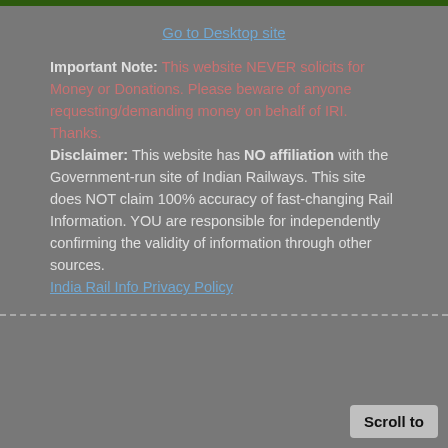Go to Desktop site
Important Note: This website NEVER solicits for Money or Donations. Please beware of anyone requesting/demanding money on behalf of IRI. Thanks. Disclaimer: This website has NO affiliation with the Government-run site of Indian Railways. This site does NOT claim 100% accuracy of fast-changing Rail Information. YOU are responsible for independently confirming the validity of information through other sources. India Rail Info Privacy Policy